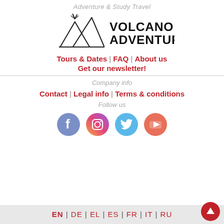Adventure & Study Travel
[Figure (logo): Volcano Adventures logo with mountain/volcano SVG graphic and text VOLCANO ADVENTURES]
Tours & Dates | FAQ | About us
Get our newsletter!
Company info
Contact | Legal info | Terms & conditions
Follow us
[Figure (illustration): Social media icons: Facebook, Instagram, Twitter, YouTube]
EN | DE | EL | ES | FR | IT | RU